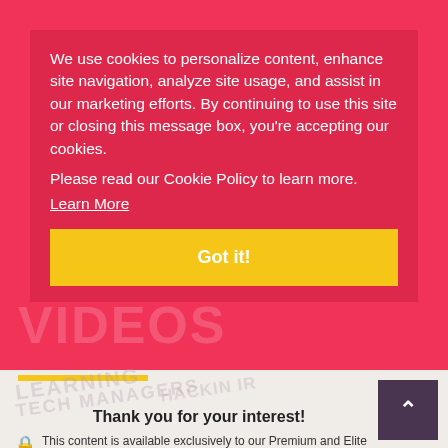We use cookies to personalize content, enhance site navigation, analyze site usage, and assist in our marketing efforts. By continuing to use this site or closing this message box, you're accepting our cookies.
Please read our Cookie Policy to learn more.
Learn More
Got it!
Thank you for your interest!
This content is available exclusively to our Premium and Elite